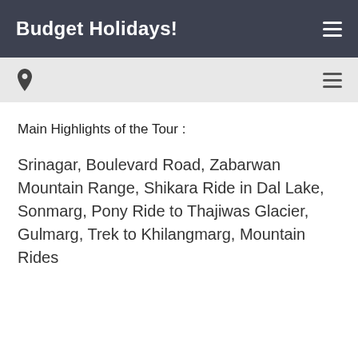Budget Holidays!
Main Highlights of the Tour :
Srinagar, Boulevard Road, Zabarwan Mountain Range, Shikara Ride in Dal Lake, Sonmarg, Pony Ride to Thajiwas Glacier, Gulmarg, Trek to Khilangmarg, Mountain Rides